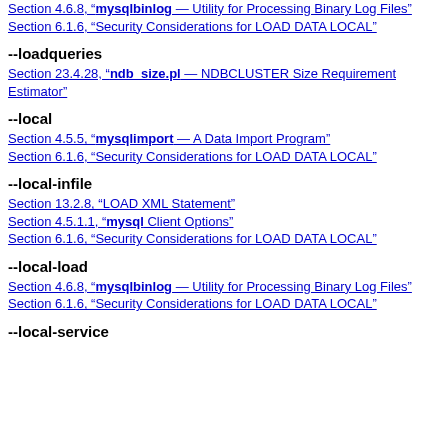Section 4.6.8, “mysqlbinlog — Utility for Processing Binary Log Files”
Section 6.1.6, “Security Considerations for LOAD DATA LOCAL”
--loadqueries
Section 23.4.28, “ndb_size.pl — NDBCLUSTER Size Requirement Estimator”
--local
Section 4.5.5, “mysqlimport — A Data Import Program”
Section 6.1.6, “Security Considerations for LOAD DATA LOCAL”
--local-infile
Section 13.2.8, “LOAD XML Statement”
Section 4.5.1.1, “mysql Client Options”
Section 6.1.6, “Security Considerations for LOAD DATA LOCAL”
--local-load
Section 4.6.8, “mysqlbinlog — Utility for Processing Binary Log Files”
Section 6.1.6, “Security Considerations for LOAD DATA LOCAL”
--local-service